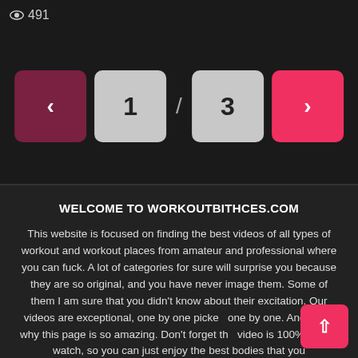👁 491
[Figure (other): Pagination control with left arrow button (dark red), number 1 (light gray), slash, number 3 (light gray), right arrow button (pink/red)]
WELCOME TO WORKOUTBITHCES.COM
This website is focused on finding the best videos of all types of workout and workout places from amateur and professional where you can fuck. A lot of categories for sure will surprise you because they are so original, and you have never image them. Some of them I am sure that you didn't know about their excitation. Our videos are exceptional, one by one picked one by one. And that's why this page is so amazing. Don't forget the video is 100% free to watch, so you can just enjoy the best bodies that you